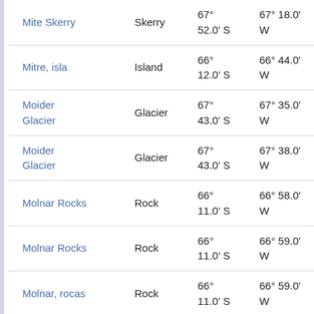| Name | Type | Latitude | Longitude | Distance |
| --- | --- | --- | --- | --- |
| Mite Skerry | Skerry | 67° 52.0' S | 67° 18.0' W | 93.0 k… at 175… |
| Mitre, isla | Island | 66° 12.0' S | 66° 44.0' W | 98.4 k… at 20° |
| Moider Glacier | Glacier | 67° 43.0' S | 67° 35.0' W | 76.1 k… at 183… |
| Moider Glacier | Glacier | 67° 43.0' S | 67° 38.0' W | 76.3 k… at 185… |
| Molnar Rocks | Rock | 66° 11.0' S | 66° 58.0' W | 97.2 k… at 14° |
| Molnar Rocks | Rock | 66° 11.0' S | 66° 59.0' W | 97.1 k… at 13° |
| Molnar, rocas | Rock | 66° 11.0' S | 66° 59.0' W | 97.1 k… at 13° |
| Morgan Peak | Peak | 67° 25.3' S | 68° 04.6' W | 50.2 k… at 210… |